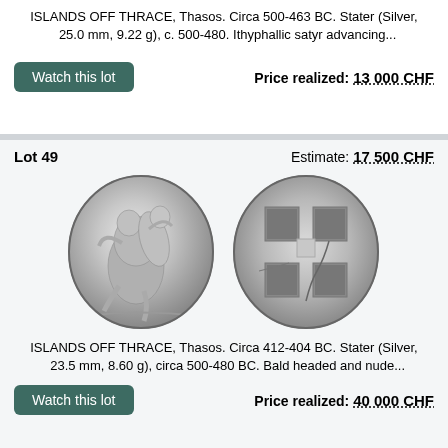ISLANDS OFF THRACE, Thasos. Circa 500-463 BC. Stater (Silver, 25.0 mm, 9.22 g), c. 500-480. Ithyphallic satyr advancing...
Price realized: 13 000 CHF
Lot 49
Estimate: 17 500 CHF
[Figure (photo): Two ancient silver coins of Thasos: obverse showing satyr carrying nymph, reverse showing incuse square pattern]
ISLANDS OFF THRACE, Thasos. Circa 412-404 BC. Stater (Silver, 23.5 mm, 8.60 g), circa 500-480 BC. Bald headed and nude...
Price realized: 40 000 CHF